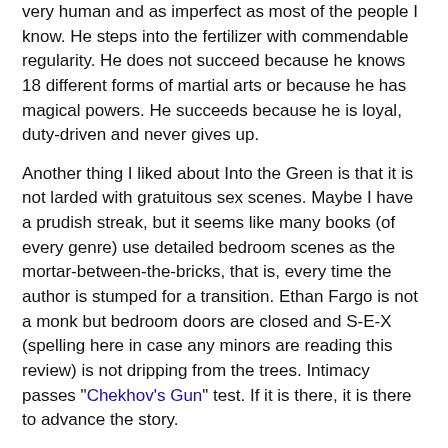very human and as imperfect as most of the people I know. He steps into the fertilizer with commendable regularity. He does not succeed because he knows 18 different forms of martial arts or because he has magical powers. He succeeds because he is loyal, duty-driven and never gives up.
Another thing I liked about Into the Green is that it is not larded with gratuitous sex scenes. Maybe I have a prudish streak, but it seems like many books (of every genre) use detailed bedroom scenes as the mortar-between-the-bricks, that is, every time the author is stumped for a transition. Ethan Fargo is not a monk but bedroom doors are closed and S-E-X (spelling here in case any minors are reading this review) is not dripping from the trees. Intimacy passes "Chekhov's Gun" test. If it is there, it is there to advance the story.
Dialog sounds like real conversations between real people. I don't write fiction because I cannot do dialog. Mr Curtis does a great job with dialog.
It is mandatory to write something negative in order to